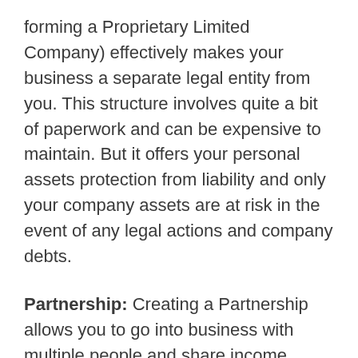forming a Proprietary Limited Company) effectively makes your business a separate legal entity from you. This structure involves quite a bit of paperwork and can be expensive to maintain. But it offers your personal assets protection from liability and only your company assets are at risk in the event of any legal actions and company debts.
Partnership: Creating a Partnership allows you to go into business with multiple people and share income. Partnerships are easier and less expensive than Companies to set up. However, all